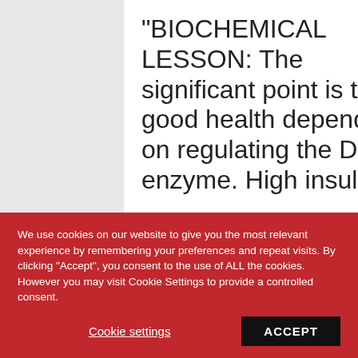"BIOCHEMICAL LESSON: The significant point is that good health depends on regulating the D5D enzyme. High insulin
We use cookies on our website to give you the most relevant experience by remembering your preferences and repeat visits. By clicking "Accept", you consent to the use of ALL the cookies. However you may visit Cookie Settings to provide a controlled consent.